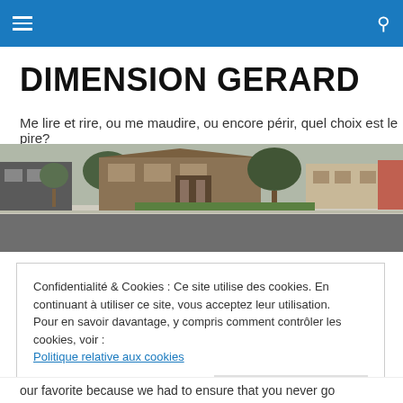☰  🔍
DIMENSION GERARD
Me lire et rire, ou me maudire, ou encore périr, quel choix est le pire?
[Figure (photo): Panoramic photo of a town street with buildings, trees, and green grass under an overcast sky.]
Confidentialité & Cookies : Ce site utilise des cookies. En continuant à utiliser ce site, vous acceptez leur utilisation.
Pour en savoir davantage, y compris comment contrôler les cookies, voir :
Politique relative aux cookies
[Fermer et accepter]
our favorite because we had to ensure that you never go